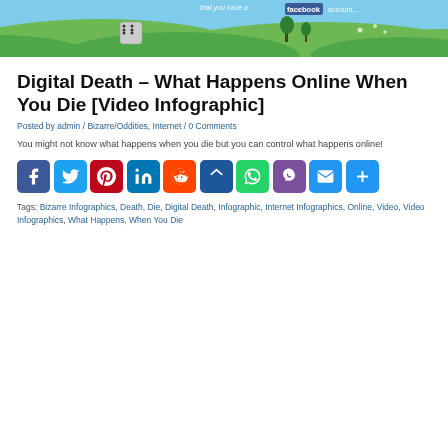[Figure (illustration): Banner image with green hills, blue sky, dice, and partial Facebook button text overlay]
Digital Death – What Happens Online When You Die [Video Infographic]
Posted by admin / Bizarre/Oddities, Internet / 0 Comments
You might not know what happens when you die but you can control what happens online!
[Figure (infographic): Row of social share buttons: Facebook, Twitter, Pinterest, LinkedIn, Reddit, Pin It, WhatsApp, Viber, Email, Share]
Tags: Bizarre Infographics, Death, Die, Digital Death, Infographic, Internet Infographics, Online, Video, Video Infographics, What Happens, When You Die